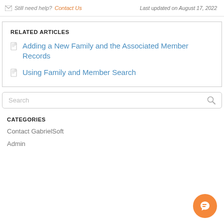Still need help? Contact Us   Last updated on August 17, 2022
RELATED ARTICLES
Adding a New Family and the Associated Member Records
Using Family and Member Search
Search
CATEGORIES
Contact GabrielSoft
Admin